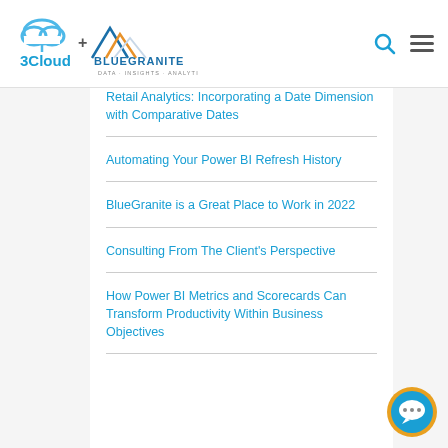[Figure (logo): 3Cloud + BlueGranite logo with mountain graphic and tagline DATA · INSIGHTS · ANALYTICS]
Retail Analytics: Incorporating a Date Dimension with Comparative Dates
Automating Your Power BI Refresh History
BlueGranite is a Great Place to Work in 2022
Consulting From The Client's Perspective
How Power BI Metrics and Scorecards Can Transform Productivity Within Business Objectives